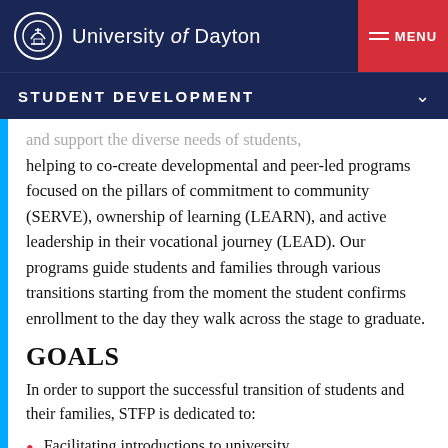University of Dayton | MENU
STUDENT DEVELOPMENT
and support the diverse needs of students, helping to co-create developmental and peer-led programs focused on the pillars of commitment to community (SERVE), ownership of learning (LEARN), and active leadership in their vocational journey (LEAD). Our programs guide students and families through various transitions starting from the moment the student confirms enrollment to the day they walk across the stage to graduate.
GOALS
In order to support the successful transition of students and their families, STFP is dedicated to:
Facilitating introductions to university